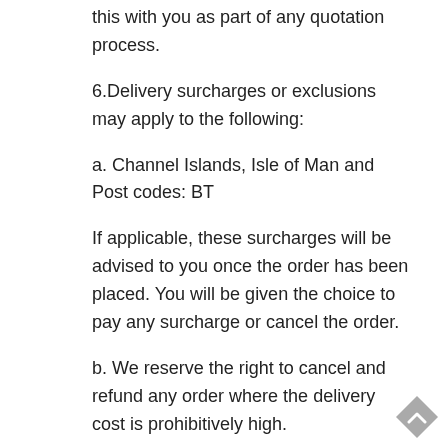this with you as part of any quotation process.
6. Delivery surcharges or exclusions may apply to the following:
a. Channel Islands, Isle of Man and Post codes: BT
If applicable, these surcharges will be advised to you once the order has been placed. You will be given the choice to pay any surcharge or cancel the order.
b. We reserve the right to cancel and refund any order where the delivery cost is prohibitively high.